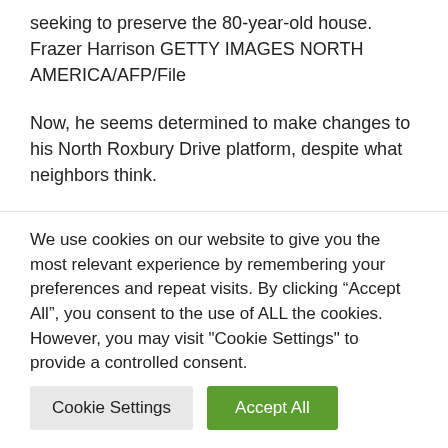seeking to preserve the 80-year-old house. Frazer Harrison GETTY IMAGES NORTH AMERICA/AFP/File
Now, he seems determined to make changes to his North Roxbury Drive platform, despite what neighbors think.
Last year he applied for a “certificate of
We use cookies on our website to give you the most relevant experience by remembering your preferences and repeat visits. By clicking “Accept All”, you consent to the use of ALL the cookies. However, you may visit "Cookie Settings" to provide a controlled consent.
Cookie Settings
Accept All